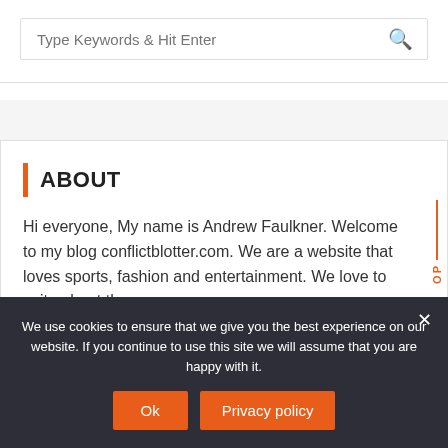[Figure (screenshot): Search input box with placeholder text 'Type Keywords & Hit Enter' and a search icon on the right]
ABOUT
Hi everyone, My name is Andrew Faulkner. Welcome to my blog conflictblotter.com. We are a website that loves sports, fashion and entertainment. We love to write about these
We use cookies to ensure that we give you the best experience on our website. If you continue to use this site we will assume that you are happy with it.
Ok
Privacy policy